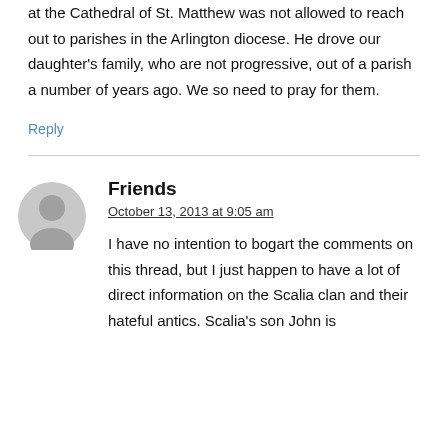at the Cathedral of St. Matthew was not allowed to reach out to parishes in the Arlington diocese. He drove our daughter's family, who are not progressive, out of a parish a number of years ago. We so need to pray for them.
Reply
Friends
October 13, 2013 at 9:05 am
I have no intention to bogart the comments on this thread, but I just happen to have a lot of direct information on the Scalia clan and their hateful antics. Scalia's son John is